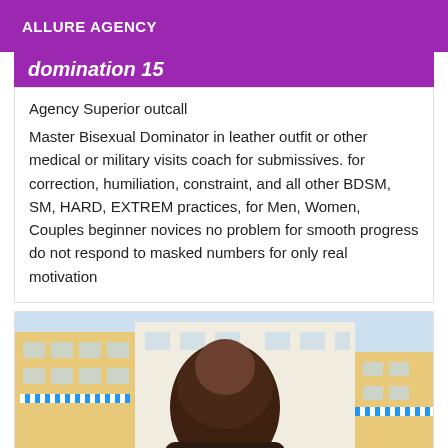ALLURE AGENCY
domination 15
Agency Superior outcall
Master Bisexual Dominator in leather outfit or other medical or military visits coach for submissives. for correction, humiliation, constraint, and all other BDSM, SM, HARD, EXTREM practices, for Men, Women, Couples beginner novices no problem for smooth progress do not respond to masked numbers for only real motivation
[Figure (photo): Photo of a person seen from behind with long dark hair, standing on a balcony or street with apartment buildings in the background featuring blue and white striped awnings. A green scissors icon is visible at the bottom.]